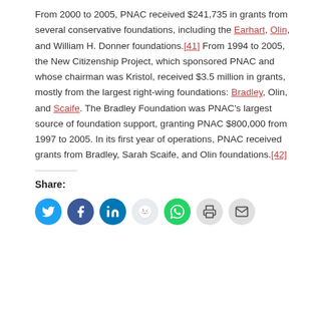From 2000 to 2005, PNAC received $241,735 in grants from several conservative foundations, including the Earhart, Olin, and William H. Donner foundations.[41] From 1994 to 2005, the New Citizenship Project, which sponsored PNAC and whose chairman was Kristol, received $3.5 million in grants, mostly from the largest right-wing foundations: Bradley, Olin, and Scaife. The Bradley Foundation was PNAC's largest source of foundation support, granting PNAC $800,000 from 1997 to 2005. In its first year of operations, PNAC received grants from Bradley, Sarah Scaife, and Olin foundations.[42]
Share: